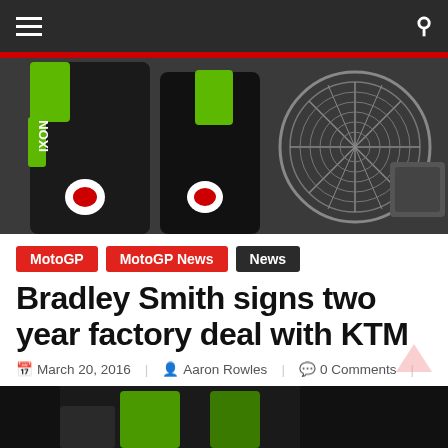Navigation bar with hamburger menu and search icon
[Figure (photo): Hero image showing motorcycle racing gear (black and green leather suits) and a large industrial fan in the background]
MotoGP  MotoGP News  News
Bradley Smith signs two year factory deal with KTM
March 20, 2016  Aaron Rowles  0 Comments  KTM, MotoGP, Smith, Yamaha
[Figure (photo): Partial bottom image showing motorcycle or racing scene with green colors]